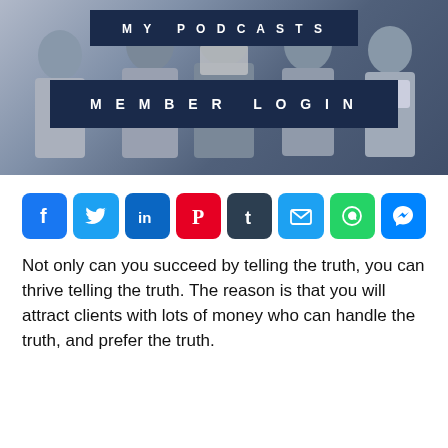[Figure (photo): Group photo of people using smartphones and tablets, with two dark blue overlay bars: one reading MY PODCASTS and one reading MEMBER LOGIN]
[Figure (infographic): Row of 8 social media share buttons: Facebook, Twitter, LinkedIn, Pinterest, Tumblr, Email, WhatsApp, Messenger]
Not only can you succeed by telling the truth, you can thrive telling the truth. The reason is that you will attract clients with lots of money who can handle the truth, and prefer the truth.